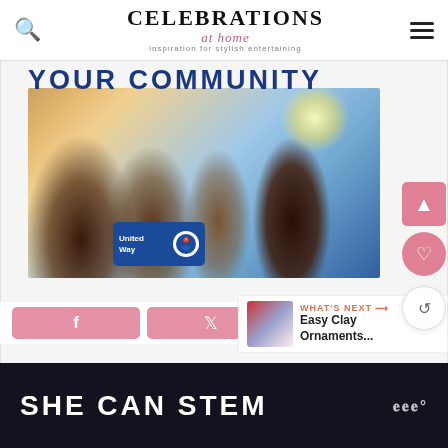Celebrations at Home — inspiration for stylish entertaining
YOUR COMMUNITY
[Figure (photo): Family of four smiling together outdoors with sunlight behind them, with United Way logo overlay in the lower center]
[Figure (logo): United Way logo — blue rectangular badge with United Way text and circular logo]
[Figure (infographic): Social sharing buttons: Facebook, Twitter, and Pinterest (pink rounded buttons). What's Next panel with clay ornaments thumbnail.]
WHAT'S NEXT →
Easy Clay Ornaments...
SHE CAN STEM